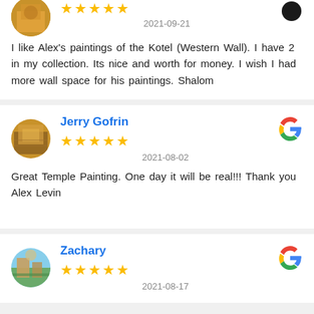I like Alex's paintings of the Kotel (Western Wall). I have 2 in my collection. Its nice and worth for money. I wish I had more wall space for his paintings. Shalom
Jerry Gofrin
2021-08-02
Great Temple Painting. One day it will be real!!! Thank you Alex Levin
Zachary
2021-08-17